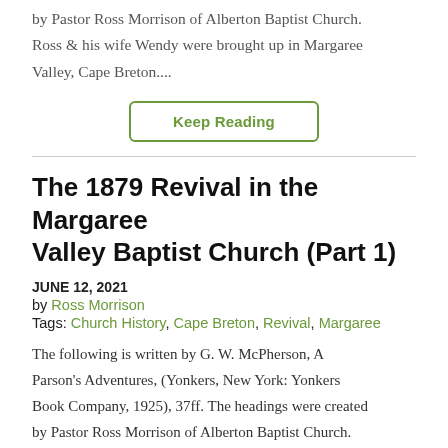by Pastor Ross Morrison of Alberton Baptist Church. Ross & his wife Wendy were brought up in Margaree Valley, Cape Breton....
Keep Reading
The 1879 Revival in the Margaree Valley Baptist Church (Part 1)
JUNE 12, 2021
by Ross Morrison
Tags: Church History, Cape Breton, Revival, Margaree
The following is written by G. W. McPherson, A Parson's Adventures, (Yonkers, New York: Yonkers Book Company, 1925), 37ff. The headings were created by Pastor Ross Morrison of Alberton Baptist Church.